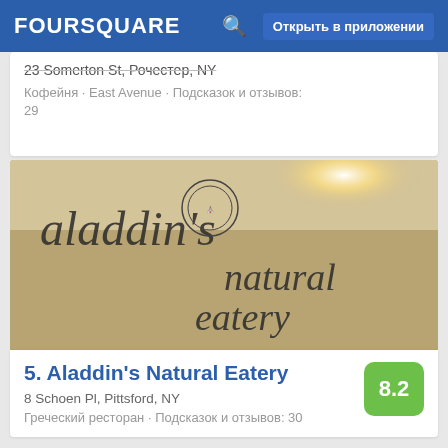FOURSQUARE  Открыть в приложении
23 Somerton St, Рочестер, NY
Кофейня · East Avenue · Подсказок и отзывов: 29
[Figure (photo): Photo of Aladdin's Natural Eatery sign — cursive script on a tan/beige surface with a bright light flare in upper right]
5. Aladdin's Natural Eatery
8 Schoen Pl, Pittsford, NY
Греческий ресторан · Подсказок и отзывов: 30